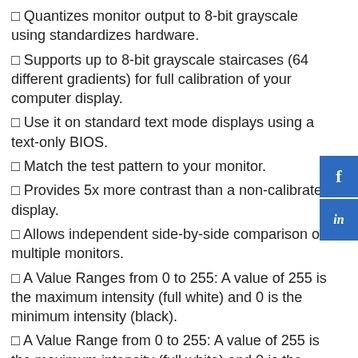Quantizes monitor output to 8-bit grayscale using standardizes hardware.
Supports up to 8-bit grayscale staircases (64 different gradients) for full calibration of your computer display.
Use it on standard text mode displays using a text-only BIOS.
Match the test pattern to your monitor.
Provides 5x more contrast than a non-calibrated display.
Allows independent side-by-side comparison of multiple monitors.
A Value Ranges from 0 to 255: A value of 255 is the maximum intensity (full white) and 0 is the minimum intensity (black).
A Value Range from 0 to 255: A value of 255 is the maximum intensity (full white) and 0 is the minimum intensity (black).
Includes 8 Bit RGB: Provides even more control.
8 Bit RGB: A closer approximation of the display's